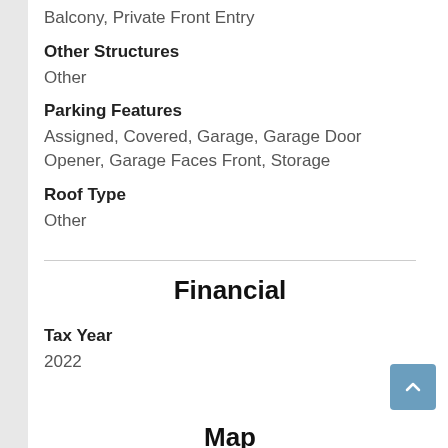Balcony, Private Front Entry
Other Structures
Other
Parking Features
Assigned, Covered, Garage, Garage Door Opener, Garage Faces Front, Storage
Roof Type
Other
Financial
Tax Year
2022
Map